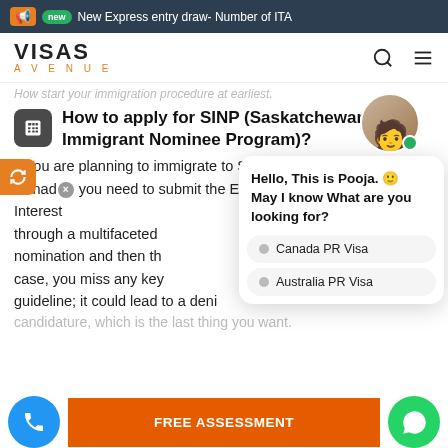New Express entry draw- Number of ITA
[Figure (screenshot): Visas Avenue logo and navigation bar with search and menu icons]
How start your immigration procedure at earliest.
How to apply for SINP (Saskatchewan Immigrant Nominee Program)?
If you are planning to immigrate to Saskatchewan, Canada, you need to submit the Expression of Interest (EOI) through a multifaceted nomination and then the case, you miss any key guideline; it could lead to a denial candidature, which is the last thing you want.
[Figure (screenshot): Chat popup with agent Pooja asking 'Hello, This is Pooja. May I know What are you looking for?' with options: Canada PR Visa, Australia PR Visa]
FREE ASSESSMENT